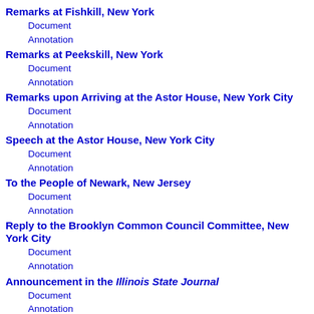Remarks at Fishkill, New York
Document
Annotation
Remarks at Peekskill, New York
Document
Annotation
Remarks upon Arriving at the Astor House, New York City
Document
Annotation
Speech at the Astor House, New York City
Document
Annotation
To the People of Newark, New Jersey
Document
Annotation
Reply to the Brooklyn Common Council Committee, New York City
Document
Annotation
Announcement in the Illinois State Journal
Document
Annotation